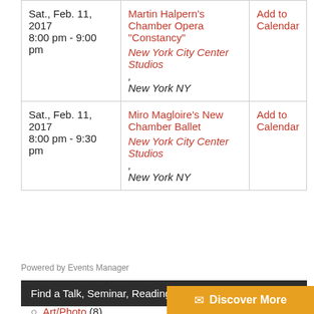| Date/Time | Event | Action |
| --- | --- | --- |
| Sat., Feb. 11, 2017
8:00 pm - 9:00 pm | Martin Halpern's Chamber Opera "Constancy"
New York City Center Studios, New York NY | Add to Calendar |
| Sat., Feb. 11, 2017
8:00 pm - 9:30 pm | Miro Magloire's New Chamber Ballet
New York City Center Studios, New York NY | Add to Calendar |
Powered by Events Manager
Find a Talk, Seminar, Reading or Discussion by Category
Art/Photo (8)
[Figure (other): Discover More button with envelope icon and orange background]